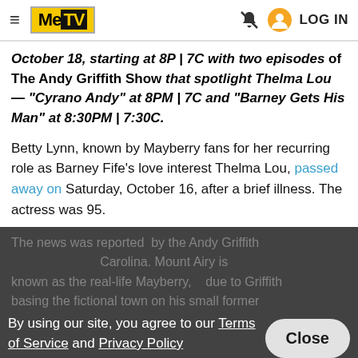MeTV — LOG IN
October 18, starting at 8P | 7C with two episodes of The Andy Griffith Show that spotlight Thelma Lou — "Cyrano Andy" at 8PM | 7C and "Barney Gets His Man" at 8:30PM | 7:30C.
Betty Lynn, known by Mayberry fans for her recurring role as Barney Fife's love interest Thelma Lou, passed away on Saturday, October 16, after a brief illness. The actress was 95.
The news was reported by the Andy Griffith [Museum in North Carolina. Mount Airy is well-known as the real-life Mayberry, due to Griffith basing the fictional town on his small former] hometown. Lynn lived in Los Angeles until 2006. After an appearance at Mayberry Days in Mount Airy, she fell in love with the place. After her home was
By using our site, you agree to our Terms of Service and Privacy Policy
Close